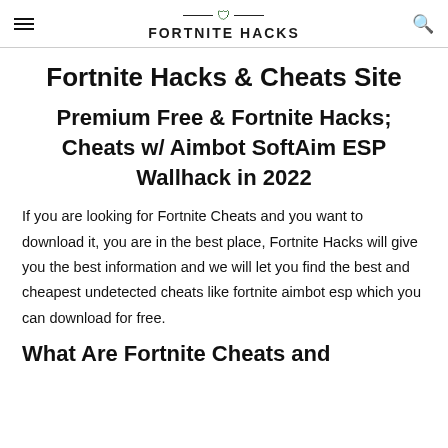FORTNITE HACKS
Fortnite Hacks & Cheats Site
Premium Free & Fortnite Hacks; Cheats w/ Aimbot SoftAim ESP Wallhack in 2022
If you are looking for Fortnite Cheats and you want to download it, you are in the best place, Fortnite Hacks will give you the best information and we will let you find the best and cheapest undetected cheats like fortnite aimbot esp which you can download for free.
What Are Fortnite Cheats and